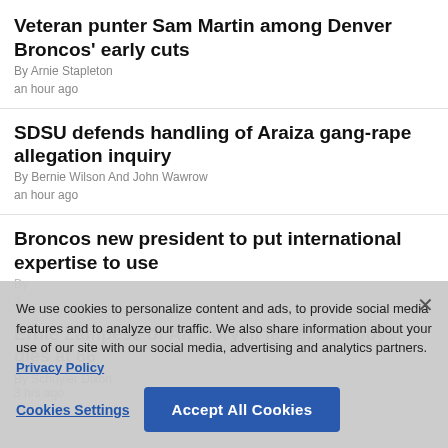Veteran punter Sam Martin among Denver Broncos' early cuts
By Arnie Stapleton
an hour ago
SDSU defends handling of Araiza gang-rape allegation inquiry
By Bernie Wilson And John Wawrow
an hour ago
Broncos new president to put international expertise to use
By [partially obscured]
3 [partially obscured]
Ernie Zampese of Air Coryell fame, Cowboys, dies at 86
By Schuyler Dixon
3 hrs ago
We use cookies to personalize content and ads, to provide social media features and to analyze our traffic. We also share information about your use of our site with our social media, advertising and analytics partners. Privacy Policy
Cookies Settings    Accept All Cookies